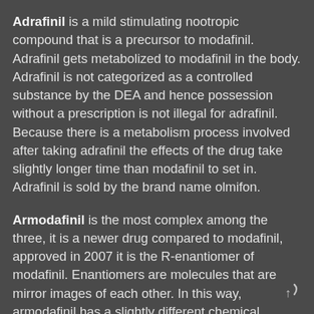Adrafinil is a mild stimulating nootropic compound that is a precursor to modafinil. Adrafinil gets metabolized to modafinil in the body. Adrafinil is not categorized as a controlled substance by the DEA and hence possession without a prescription is not illegal for adrafinil. Because there is a metabolism process involved after taking adrafinil the effects of the drug take slightly longer time than modafinil to set in. Adrafinil is sold by the brand name olmifon.
Armodafinil is the most complex among the three, it is a newer drug compared to modafinil, approved in 2007 it is the R-enantiomer of modafinil. Enantiomers are molecules that are mirror images of each other. In this way, armodafinil has a slightly different chemical structure compared to